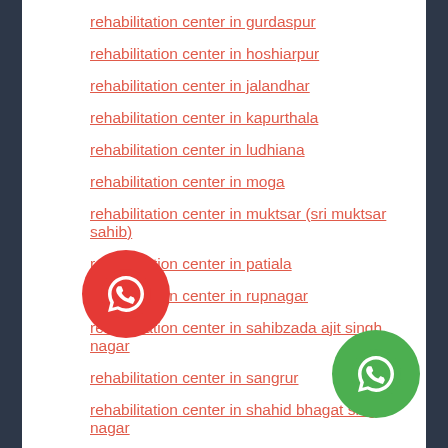rehabilitation center in gurdaspur
rehabilitation center in hoshiarpur
rehabilitation center in jalandhar
rehabilitation center in kapurthala
rehabilitation center in ludhiana
rehabilitation center in moga
rehabilitation center in muktsar (sri muktsar sahib)
rehabilitation center in patiala
rehabilitation center in rupnagar
rehabilitation center in sahibzada ajit singh nagar
rehabilitation center in sangrur
rehabilitation center in shahid bhagat singh nagar
rehabilitation center in tarn taran
rehabilitation center in karnal
rehabilitation center in bhiwani
[Figure (illustration): Red circular WhatsApp-style phone icon button (bottom left)]
[Figure (illustration): Green circular WhatsApp icon button (bottom right)]